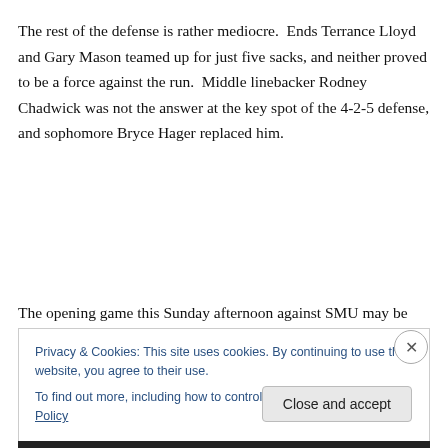The rest of the defense is rather mediocre.  Ends Terrance Lloyd and Gary Mason teamed up for just five sacks, and neither proved to be a force against the run.  Middle linebacker Rodney Chadwick was not the answer at the key spot of the 4-2-5 defense, and sophomore Bryce Hager replaced him.
The opening game this Sunday afternoon against SMU may be
Privacy & Cookies: This site uses cookies. By continuing to use this website, you agree to their use.
To find out more, including how to control cookies, see here: Cookie Policy
Close and accept